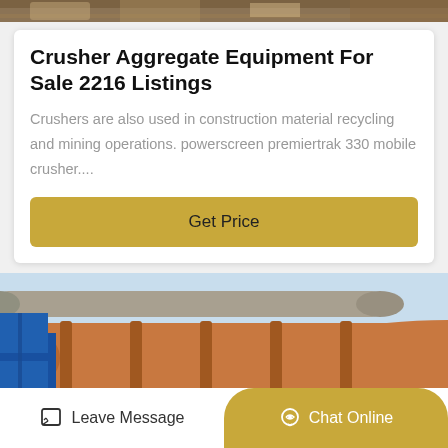[Figure (photo): Top strip showing industrial crusher/mining equipment, partial view]
Crusher Aggregate Equipment For Sale 2216 Listings
Crushers are also used in construction material recycling and mining operations. powerscreen premiertrak 330 mobile crusher....
[Figure (infographic): Gold/yellow 'Get Price' button]
[Figure (photo): Industrial rotary kiln or large cylindrical pipe/drum equipment at a mining or cement facility, with blue structure on left and Chinese signage in background]
Leave Message
Chat Online